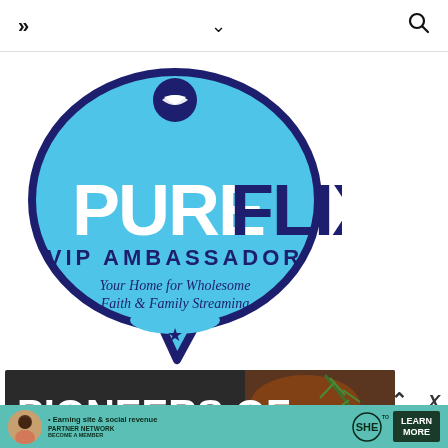>> navigation chevron search
[Figure (logo): PureFlix VIP Ambassador logo badge — light blue speech-bubble shape with navy border, PureFlix branding, 'VIP AMBASSADOR' text, 'Your Home for Wholesome Faith & Family Streaming' tagline, star at bottom]
[Figure (photo): Dark background food photo banner with text 'PIONEERS OF' in large white bold letters, featuring a piece of meat with rosemary garnish]
[Figure (infographic): SHE Media partner network advertisement banner with teal background, woman avatar, bullet point 'Earning site & social revenue', SHE logo, 'PARTNER NETWORK BECOME A MEMBER', and 'LEARN MORE' dark green button]